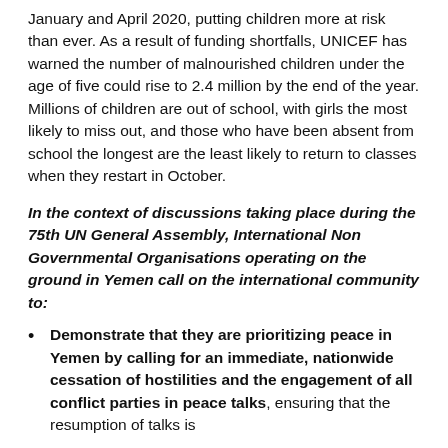January and April 2020, putting children more at risk than ever. As a result of funding shortfalls, UNICEF has warned the number of malnourished children under the age of five could rise to 2.4 million by the end of the year. Millions of children are out of school, with girls the most likely to miss out, and those who have been absent from school the longest are the least likely to return to classes when they restart in October.
In the context of discussions taking place during the 75th UN General Assembly, International Non Governmental Organisations operating on the ground in Yemen call on the international community to:
Demonstrate that they are prioritizing peace in Yemen by calling for an immediate, nationwide cessation of hostilities and the engagement of all conflict parties in peace talks, ensuring that the resumption of talks is